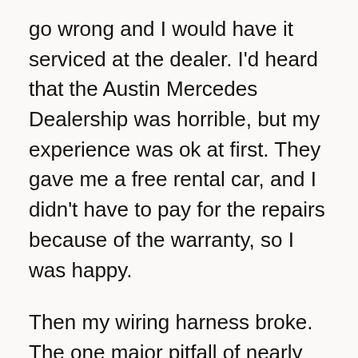go wrong and I would have it serviced at the dealer. I'd heard that the Austin Mercedes Dealership was horrible, but my experience was ok at first. They gave me a free rental car, and I didn't have to pay for the repairs because of the warranty, so I was happy.
Then my wiring harness broke. The one major pitfall of nearly every 1994-1995 Mercedes is that they replaced the wire sheathings with biodegradable rubber. It's a noble cause and all, but under the heat of the engine, the sheathing deteriorates and the wires short each other out, causing electrical havoc. I